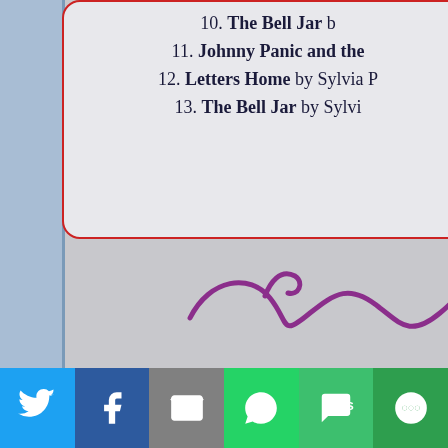10. The Bell Jar b...
11. Johnny Panic and the...
12. Letters Home by Sylvia P...
13. The Bell Jar by Sylvi...
[Figure (illustration): Decorative purple swirl/flourish divider]
14. Float b...
15. Embers &...
16. Valley of the D...
17. Frozen (Tak...
18. First Kiss (Heavy Inf...
19. Dissecte...
20. Storm Gla...
[Figure (infographic): Social media sharing bar with Twitter, Facebook, Email, WhatsApp, SMS, More buttons]